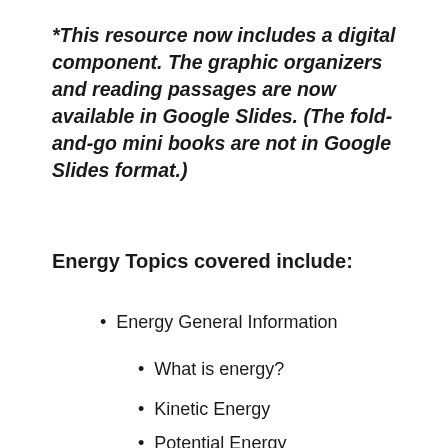*This resource now includes a digital component. The graphic organizers and reading passages are now available in Google Slides. (The fold-and-go mini books are not in Google Slides format.)
Energy Topics covered include:
Energy General Information
What is energy?
Kinetic Energy
Potential Energy